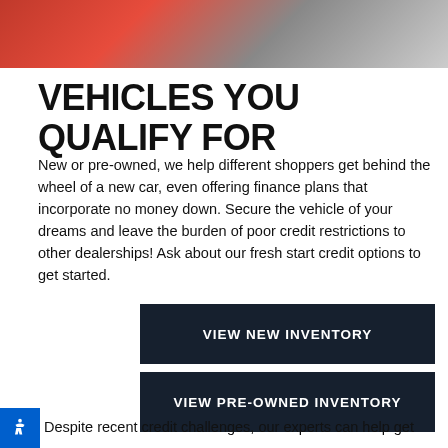[Figure (photo): Partial photo of people near a red car at a dealership, cropped at top of page]
VEHICLES YOU QUALIFY FOR
New or pre-owned, we help different shoppers get behind the wheel of a new car, even offering finance plans that incorporate no money down. Secure the vehicle of your dreams and leave the burden of poor credit restrictions to other dealerships! Ask about our fresh start credit options to get started.
VIEW NEW INVENTORY
VIEW PRE-OWNED INVENTORY
Despite recent credit challenges, our experts can help get